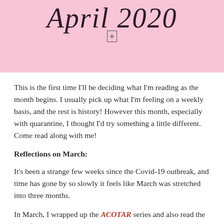April 2020
[Figure (other): Plus/expand icon inside a small square border]
This is the first time I'll be deciding what I'm reading as the month begins. I usually pick up what I'm feeling on a weekly basis, and the rest is history! However this month, especially with quarantine, I thought I'd try something a little different. Come read along with me!
Reflections on March:
It's been a strange few weeks since the Covid-19 outbreak, and time has gone by so slowly it feels like March was stretched into three months.
In March, I wrapped up the ACOTAR series and also read the Six of Crows duology. While I was